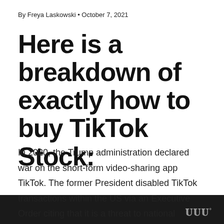By Freya Laskowski • October 7, 2021
Here is a breakdown of exactly how to buy TikTok Stock:
In 2020, the Trump administration declared war on the short-form video-sharing app TikTok. The former President disabled TikTok transactions within the US via an Executive Order citing that it is a threat to national security.
w°